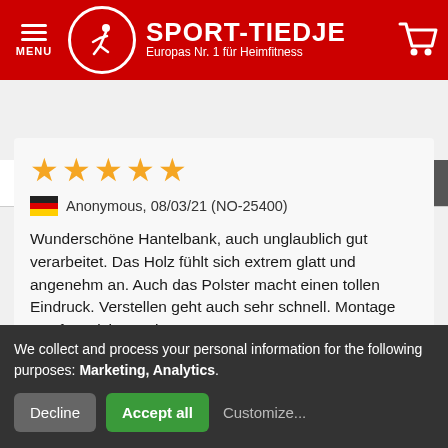SPORT-TIEDJE — Europas Nr. 1 für Heimfitness
437.841 products are ready for dispatch for you
[Figure (illustration): Five gold star rating]
Anonymous, 08/03/21 (NO-25400)
Wunderschöne Hantelbank, auch unglaublich gut verarbeitet. Das Holz fühlt sich extrem glatt und angenehm an. Auch das Polster macht einen tollen Eindruck. Verstellen geht auch sehr schnell. Montage war fast nichts mehr zu tun. Top!
Helpful • Not helpful
We collect and process your personal information for the following purposes: Marketing, Analytics.
Decline | Accept all | Customize...